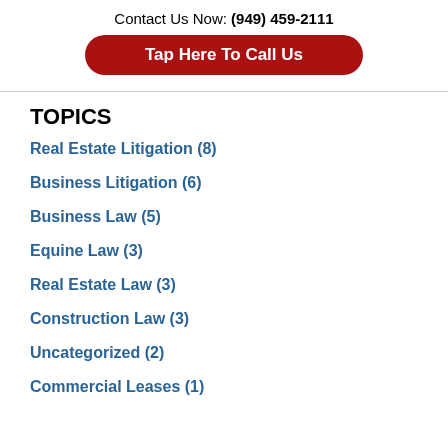Contact Us Now: (949) 459-2111
Tap Here To Call Us
TOPICS
Real Estate Litigation (8)
Business Litigation (6)
Business Law (5)
Equine Law (3)
Real Estate Law (3)
Construction Law (3)
Uncategorized (2)
Commercial Leases (1)